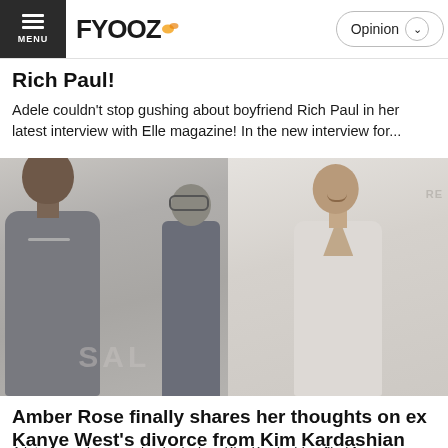FYOOZ — Opinion
Rich Paul!
Adele couldn't stop gushing about boyfriend Rich Paul in her latest interview with Elle magazine! In the new interview for...
[Figure (photo): Composite photo: left side shows Kanye West with another person in background, right side shows Amber Rose in white outfit. Partial text 'SAL' visible on left photo.]
Amber Rose finally shares her thoughts on ex Kanye West's divorce from Kim Kardashian
A lot of people were shocked when Kim Kardashian filed for